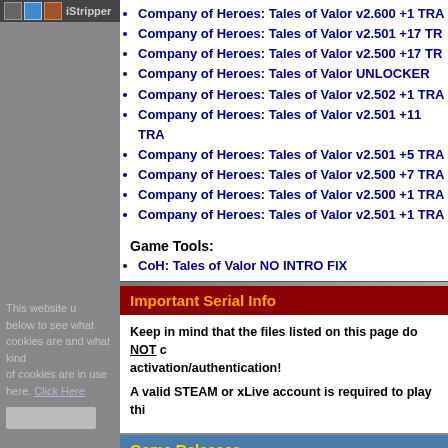[Figure (screenshot): Left gray panel with dark top bar showing icons and iStripper text, plus semi-transparent cookie notice overlay]
Company of Heroes: Tales of Valor v2.600 +1 TRA...
Company of Heroes: Tales of Valor v2.501 +17 TR...
Company of Heroes: Tales of Valor v2.500 +17 TR...
Company of Heroes: Tales of Valor UNLOCKER ...
Company of Heroes: Tales of Valor v2.502 +1 TRA...
Company of Heroes: Tales of Valor v2.501 +11 TRA...
Company of Heroes: Tales of Valor v2.501 +5 TRA...
Company of Heroes: Tales of Valor v2.500 +7 TRA...
Company of Heroes: Tales of Valor v2.500 +1 TRA...
Company of Heroes: Tales of Valor v2.501 +1 TRA...
Game Tools:
CoH: Tales of Valor NO INTRO FIX
Important Serial Info
Keep in mind that the files listed on this page do NOT cover activation/authentication!
A valid STEAM or xLive account is required to play thi...
Game Releases
ENGLISH (04-2009)
GERMAN (04-2009)
FRENCH (04-2009)
CZECH
SPANISH